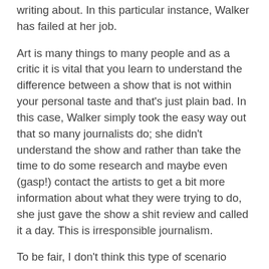writing about. In this particular instance, Walker has failed at her job.
Art is many things to many people and as a critic it is vital that you learn to understand the difference between a show that is not within your personal taste and that's just plain bad. In this case, Walker simply took the easy way out that so many journalists do; she didn't understand the show and rather than take the time to do some research and maybe even (gasp!) contact the artists to get a bit more information about what they were trying to do, she just gave the show a shit review and called it a day. This is irresponsible journalism.
To be fair, I don't think this type of scenario (which is all too common) is entirely the fault of the writers. When you're reviewing work for a daily publication, your copy is normally due the day after you see the show, meaning there is virtually no time to do any research between seeing the performance and submitting your review. Writing for a weekly may buy you an extra day or two, but it's still hardly any time to process the work you've seen, find out answers to the